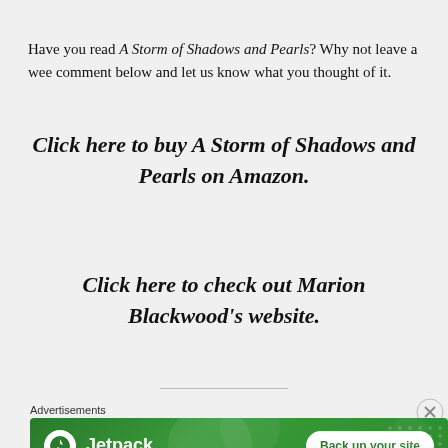Have you read A Storm of Shadows and Pearls? Why not leave a wee comment below and let us know what you thought of it.
Click here to buy A Storm of Shadows and Pearls on Amazon.
Click here to check out Marion Blackwood's website.
[Figure (other): Jetpack advertisement banner with green background, Jetpack logo and 'Back up your site' button]